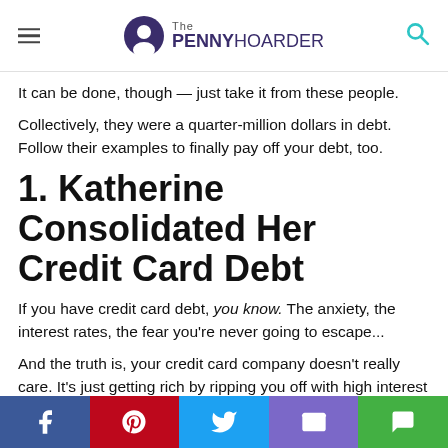The PENNY HOARDER
It can be done, though — just take it from these people.
Collectively, they were a quarter-million dollars in debt. Follow their examples to finally pay off your debt, too.
1. Katherine Consolidated Her Credit Card Debt
If you have credit card debt, you know. The anxiety, the interest rates, the fear you're never going to escape...
And the truth is, your credit card company doesn't really care. It's just getting rich by ripping you off with high interest rates. But a website called AmOne wants to help.